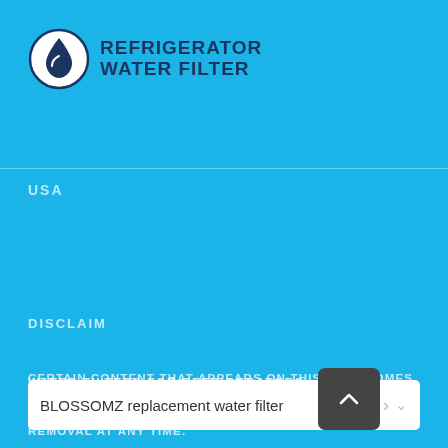[Figure (logo): Refrigerator Water Filter logo: circle with water drop icon and text 'REFRIGERATOR WATER FILTER' in dark navy blue]
USA
DISCLAIM
CERTAIN CONTENT THAT APPEARS ON THIS SITE, COMES FROM AMAZON SERVICES LLC. THIS CONTENT IS PROVIDED 'AS IS' AND IS SUBJECT TO CHANGE OR REMOVAL AT ANY TIME.
WATER FILTERS FOR REFRIGERATORS
BLOSSOMZ replacement water filter